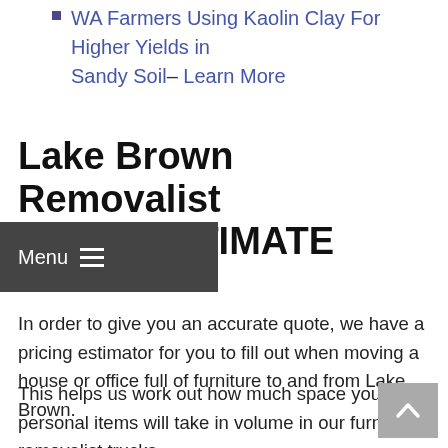WA Farmers Using Kaolin Clay For Higher Yields in Sandy Soil– Learn More
Lake Brown Removalist PRICE ESTIMATE
In order to give you an accurate quote, we have a pricing estimator for you to fill out when moving a house or office full of furniture to and from Lake Brown.
This helps us work out how much space your personal items will take in volume in our furniture removalist trucks.
Please fill in the form on this site or call, text or email directly and we will provide this to you so we can help you